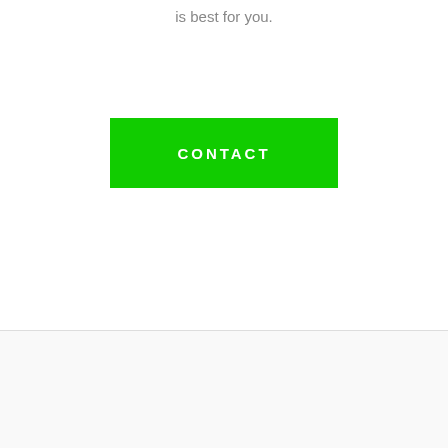is best for you.
[Figure (other): Green CONTACT button]
[Figure (other): Social media icons: Facebook, Instagram, Email in green]
Copyright © Global Teacher. All rights Reserved